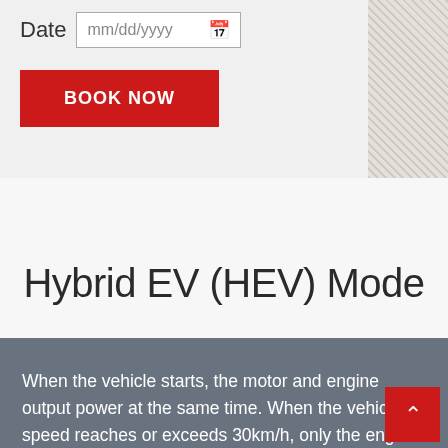Date mm/dd/yyyy
BOOK NOW
Hybrid EV (HEV) Mode
When the vehicle starts, the motor and engine output power at the same time. When the vehicle speed reaches or exceeds 30km/h, only the engine outputs power. When the throttle opening is greater than 65%, regardless of the vehicle speed, both the engine and the motor will output power at the same